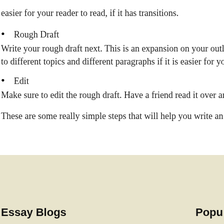easier for your reader to read, if it has transitions.
Rough Draft
Write your rough draft next. This is an expansion on your outline. You c to different topics and different paragraphs if it is easier for you.
Edit
Make sure to edit the rough draft. Have a friend read it over and give y
These are some really simple steps that will help you write an effectiv
Essay Blogs    Popu